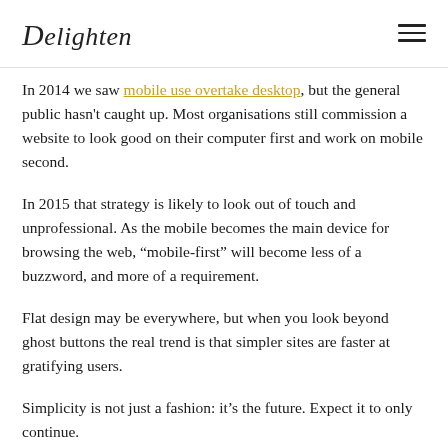Delighten
In 2014 we saw mobile use overtake desktop, but the general public hasn't caught up. Most organisations still commission a website to look good on their computer first and work on mobile second.
In 2015 that strategy is likely to look out of touch and unprofessional. As the mobile becomes the main device for browsing the web, “mobile-first” will become less of a buzzword, and more of a requirement.
Flat design may be everywhere, but when you look beyond ghost buttons the real trend is that simpler sites are faster at gratifying users.
Simplicity is not just a fashion: it’s the future. Expect it to only continue.
It will become more and more common to embed animation